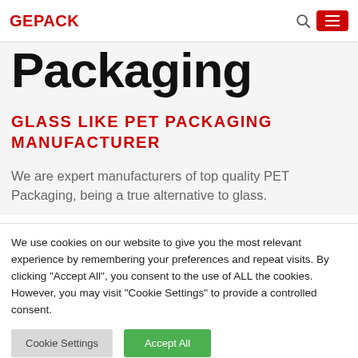GEPACK
Packaging
GLASS LIKE PET PACKAGING MANUFACTURER
We are expert manufacturers of top quality PET Packaging, being a true alternative to glass.
We use cookies on our website to give you the most relevant experience by remembering your preferences and repeat visits. By clicking "Accept All", you consent to the use of ALL the cookies. However, you may visit "Cookie Settings" to provide a controlled consent.